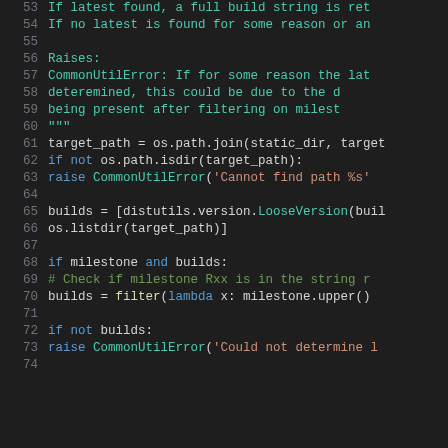[Figure (screenshot): Python source code editor view showing lines 53-74 with syntax highlighting. Green docstring text, blue keywords, teal class names, orange strings, green comments on dark background.]